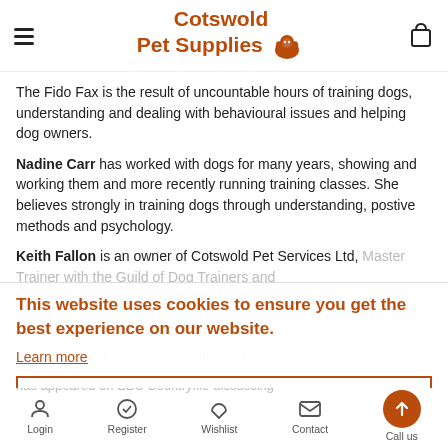Cotswold Pet Supplies
The Fido Fax is the result of uncountable hours of training dogs, understanding and dealing with behavioural issues and helping dog owners.
Nadine Carr has worked with dogs for many years, showing and working them and more recently running training classes. She believes strongly in training dogs through understanding, postive methods and psychology.
Keith Fallon is an owner of Cotswold Pet Services Ltd, Master Trainer with the Guild of Dog Trainers and Associate of the CFBA (Canine & Feline Behavioural ...
This website uses cookies to ensure you get the best experience on our website.
Learn more
Got it!
Login   Register   Wishlist   Contact   Call us